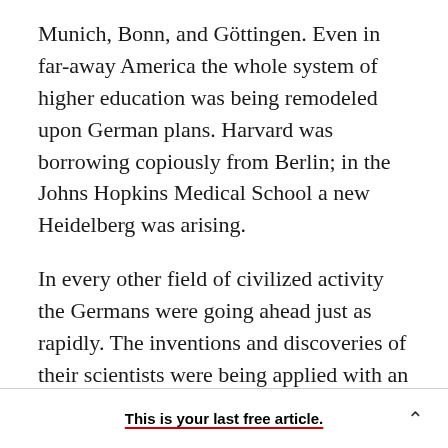Munich, Bonn, and Göttingen. Even in far-away America the whole system of higher education was being remodeled upon German plans. Harvard was borrowing copiously from Berlin; in the Johns Hopkins Medical School a new Heidelberg was arising.
In every other field of civilized activity the Germans were going ahead just as rapidly. The inventions and discoveries of their scientists were being applied with an ingenuity and a dispatch that no other nation could match; they were swiftly getting a virtual monopoly of all those forms of
This is your last free article.